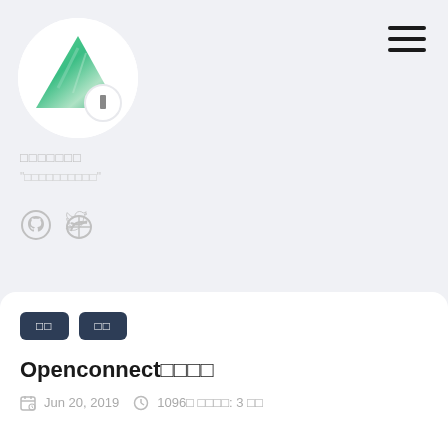[Figure (logo): Green triangle logo in a white circle with a small white badge circle overlay]
[Figure (other): Hamburger menu icon (three horizontal lines) in top right]
□□□□□□□
"□□□□□□□□□□"
[Figure (other): GitHub and Twitter social icons in light gray]
□□  □□
Openconnect□□□□
Jun 20, 2019   1096□ □□□□: 3 □□